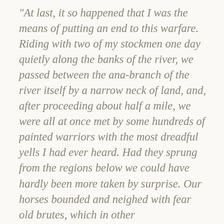“At last, it so happened that I was the means of putting an end to this warfare. Riding with two of my stockmen one day quietly along the banks of the river, we passed between the ana-branch of the river itself by a narrow neck of land, and, after proceeding about half a mile, we were all at once met by some hundreds of painted warriors with the most dreadful yells I had ever heard. Had they sprung from the regions below we could have hardly been more taken by surprise. Our horses bounded and neighed with fear old brutes, which in other